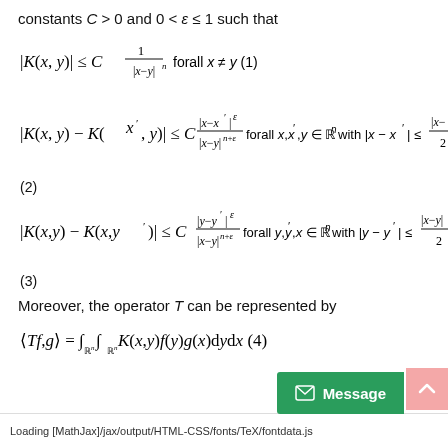constants C > 0 and 0 < ε ≤ 1 such that
Moreover, the operator T can be represented by
Loading [MathJax]/jax/output/HTML-CSS/fonts/TeX/fontdata.js